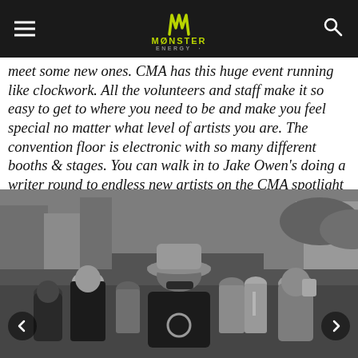Monster Energy (logo with hamburger menu and search icon)
meet some new ones. CMA has this huge event running like clockwork. All the volunteers and staff make it so easy to get to where you need to be and make you feel special no matter what level of artists you are. The convention floor is electronic with so many different booths & stages. You can walk in to Jake Owen's doing a writer round to endless new artists on the CMA spotlight stage and everywhere you look you see happy Country fans.
[Figure (photo): Black and white photo of a crowd of people on a busy street. A man wearing a wide-brim hat, sunglasses, black t-shirt with a large medallion necklace, and a backpack walks in the center. Other festival-goers surround him. Navigation arrows visible on left and right sides.]